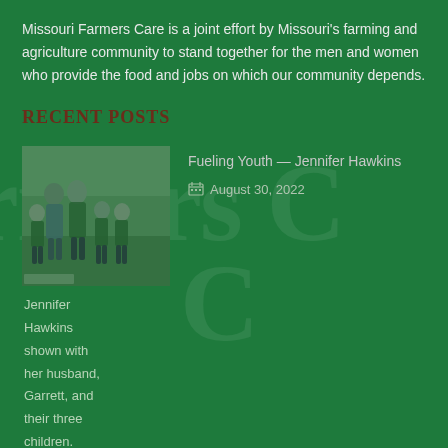Missouri Farmers Care is a joint effort by Missouri's farming and agriculture community to stand together for the men and women who provide the food and jobs on which our community depends.
RECENT POSTS
[Figure (photo): Family photo showing Jennifer Hawkins with her husband Garrett and their three children, standing outdoors in a field]
Fueling Youth — Jennifer Hawkins
August 30, 2022
Jennifer Hawkins shown with her husband, Garrett, and their three children.